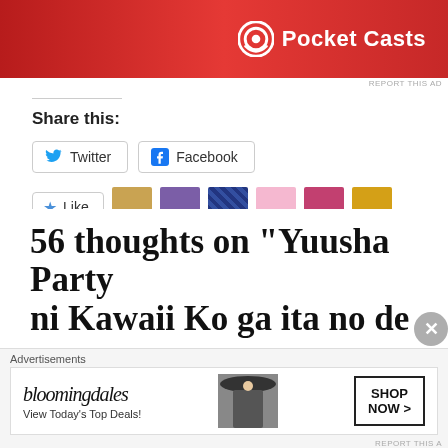[Figure (illustration): Pocket Casts advertisement banner — red background with Pocket Casts logo and text]
REPORT THIS AD
Share this:
Twitter
Facebook
Like
20 bloggers like this.
56 thoughts on “Yuusha Party ni Kawaii Ko ga ita no de
[Figure (illustration): Bloomingdale's advertisement — View Today's Top Deals with SHOP NOW button and model with hat]
Advertisements